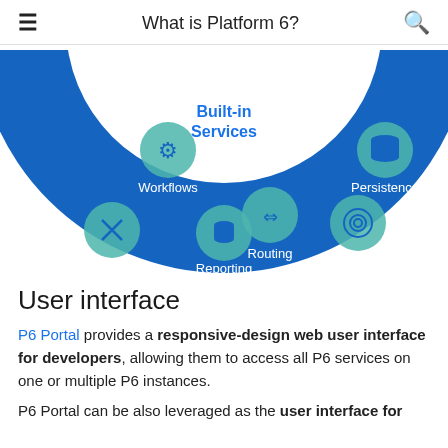What is Platform 6?
[Figure (infographic): Circular donut diagram showing Built-in Services for Platform 6. The blue ring contains icons and labels: Distribution (top left), Workflows (left), Routing (bottom left), Reporting (bottom center), Data Models (bottom right), Persistence (right). The center reads 'Built-in Services' in blue bold text.]
User interface
P6 Portal provides a responsive-design web user interface for developers, allowing them to access all P6 services on one or multiple P6 instances.
P6 Portal can be also leveraged as the user interface for